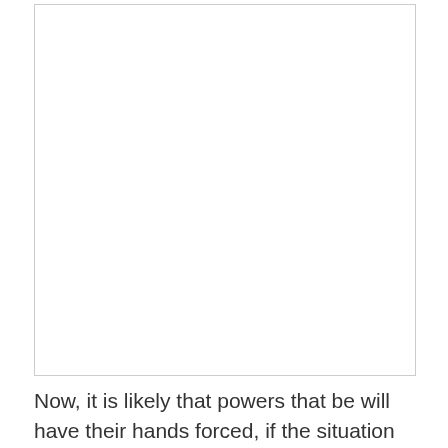[Figure (other): Large blank white image area with a thin border, occupying the upper portion of the page.]
Now, it is likely that powers that be will have their hands forced, if the situation plays out and it is determined that a banned chemical was ingested.